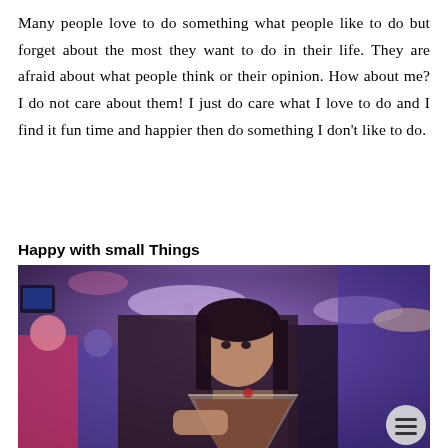Many people love to do something what people like to do but forget about the most they want to do in their life. They are afraid about what people think or their opinion. How about me? I do not care about them! I just do care what I love to do and I find it fun time and happier then do something I don't like to do.
Happy with small Things
[Figure (photo): A woman holding up a cocktail glass in a dimly lit venue with purple lighting. Other people visible in the background. A hamburger menu button overlay in the bottom right corner.]